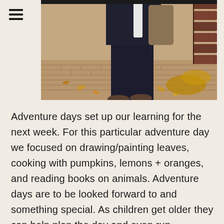[Figure (photo): Outdoor autumn scene showing a person dressed in dark clothing standing on brick pavement with fallen leaves, next to a wooden bench. The photo is cropped showing mostly legs and the lower body of the person.]
Adventure days set up our learning for the next week. For this particular adventure day we focused on drawing/painting leaves, cooking with pumpkins, lemons + oranges, and reading books on animals. Adventure days are to be looked forward to and something special. As children get older they can help plan the day and even run